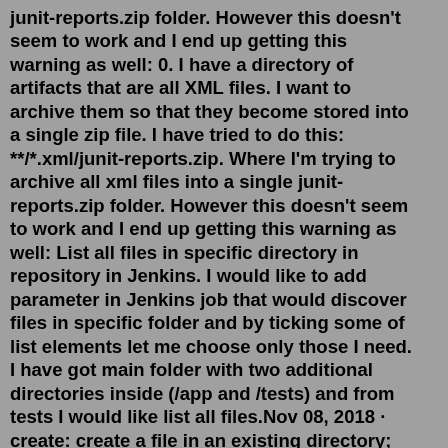junit-reports.zip folder. However this doesn't seem to work and I end up getting this warning as well: 0. I have a directory of artifacts that are all XML files. I want to archive them so that they become stored into a single zip file. I have tried to do this: **/*.xml/junit-reports.zip. Where I'm trying to archive all xml files into a single junit-reports.zip folder. However this doesn't seem to work and I end up getting this warning as well: List all files in specific directory in repository in Jenkins. I would like to add parameter in Jenkins job that would discover files in specific folder and by ticking some of list elements let me choose only those I need. I have got main folder with two additional directories inside (/app and /tests) and from tests I would like list all files.Nov 08, 2018 · create: create a file in an existing directory; delete: delete a file or directory; stat: read metadata of a file/directory, such as timestamp, length, file access modes. file path: regular expression that specifies file paths that match this rule. In addition to the base regexp syntax, it supports the following tokens: